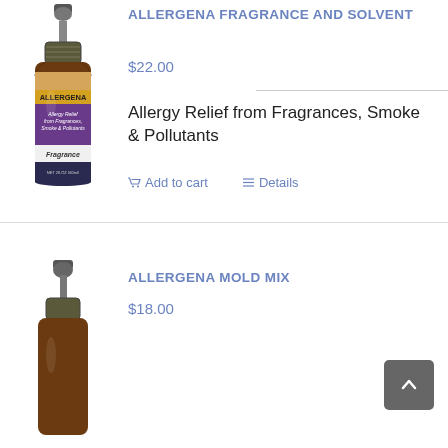[Figure (photo): Brown glass dropper bottle with Allergena label showing Allergy Relief from Fragrances, Smoke & Pollutants - Fragrance product]
ALLERGENA FRAGRANCE AND SOLVENT
$22.00
Allergy Relief from Fragrances, Smoke & Pollutants
Add to cart  Details
[Figure (photo): Brown glass dropper bottle - Allergena Mold Mix product, partially visible]
ALLERGENA MOLD MIX
$18.00